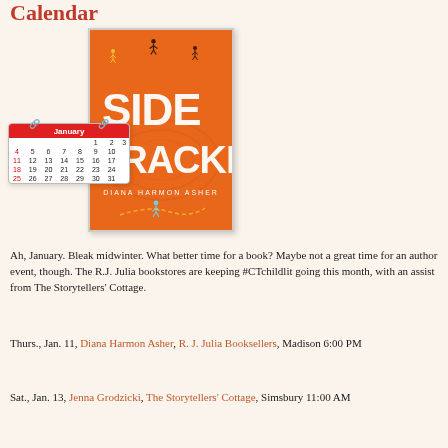Calendar
[Figure (illustration): Book cover for 'Sidetracked' by Diana Harmon Asher. Orange background with running figures and large white stylized text reading 'SIDE TRACKED'. A small January calendar widget is overlaid to the left showing dates 1-31.]
Ah, January. Bleak midwinter. What better time for a book? Maybe not a great time for an author event, though. The R.J. Julia bookstores are keeping #CTchildlit going this month, with an assist from The Storytellers' Cottage.
Thurs., Jan. 11, Diana Harmon Asher, R. J. Julia Booksellers, Madison 6:00 PM
Sat., Jan. 13, Jenna Grodzicki, The Storytellers' Cottage, Simsbury 11:00 AM